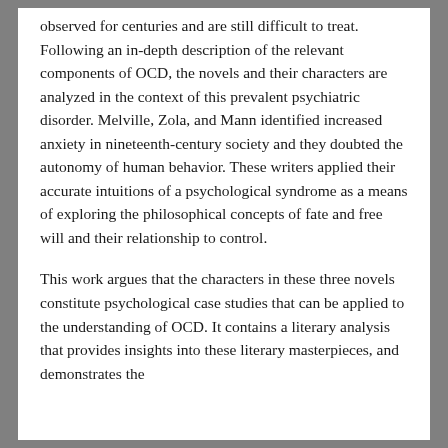observed for centuries and are still difficult to treat. Following an in-depth description of the relevant components of OCD, the novels and their characters are analyzed in the context of this prevalent psychiatric disorder. Melville, Zola, and Mann identified increased anxiety in nineteenth-century society and they doubted the autonomy of human behavior. These writers applied their accurate intuitions of a psychological syndrome as a means of exploring the philosophical concepts of fate and free will and their relationship to control.
This work argues that the characters in these three novels constitute psychological case studies that can be applied to the understanding of OCD. It contains a literary analysis that provides insights into these literary masterpieces, and demonstrates the